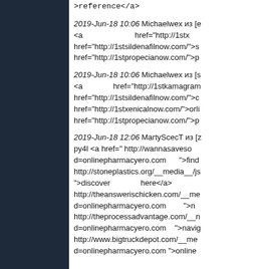>reference</a>
2019-Jun-18 10:06 Michaelwex из [e <a href="http://1stx... href="http://1stsildenafilnow.com/">s href="http://1stpropecianow.com/">p
2019-Jun-18 10:06 Michaelwex из [s <a href="http://1stkamagram... href="http://1stsildenafilnow.com/">c href="http://1stxenicalnow.com/">orli href="http://1stpropecianow.com/">p
2019-Jun-18 12:06 MartyScecT из [z py4l <a href=" http://wannasaveso... d=onlinepharmacyero.com ">find http://stoneplastics.org/__media__/js... ">discover here</a> http://theanswerischicken.com/__me... d=onlinepharmacyero.com ">n http://theprocessadvantage.com/__m... d=onlinepharmacyero.com ">navig http://www.bigtruckdepot.com/__med... d=onlinepharmacyero.com ">online